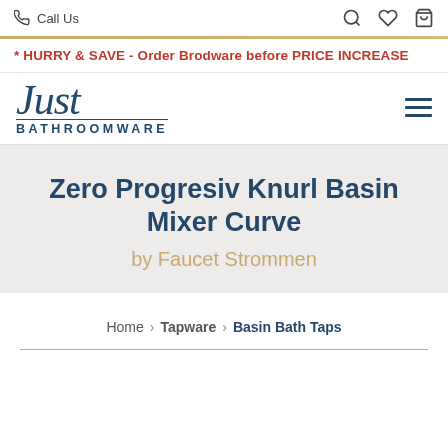Call Us
* HURRY & SAVE - Order Brodware before PRICE INCREASE
[Figure (logo): Just Bathroomware logo with cursive 'Just' and block 'BATHROOMWARE' text in navy blue]
Zero Progresiv Knurl Basin Mixer Curve
by Faucet Strommen
Home › Tapware › Basin Bath Taps